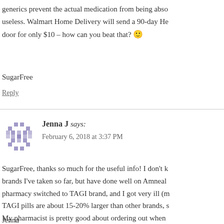generics prevent the actual medication from being absorbed making them useless. Walmart Home Delivery will send a 90-day He... door for only $10 – how can you beat that? 🙂
SugarFree
Reply
Jenna J says: February 6, 2018 at 3:37 PM
SugarFree, thanks so much for the useful info! I don't k... brands I've taken so far, but have done well on Amneal... pharmacy switched to TAGI brand, and I got very ill (m... TAGI pills are about 15-20% larger than other brands, s... My pharmacist is pretty good about ordering out when... try that first and will keep Walmart home delivery in m...
Jenna